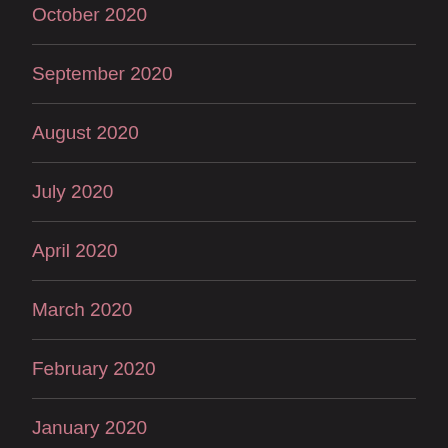October 2020
September 2020
August 2020
July 2020
April 2020
March 2020
February 2020
January 2020
December 2019